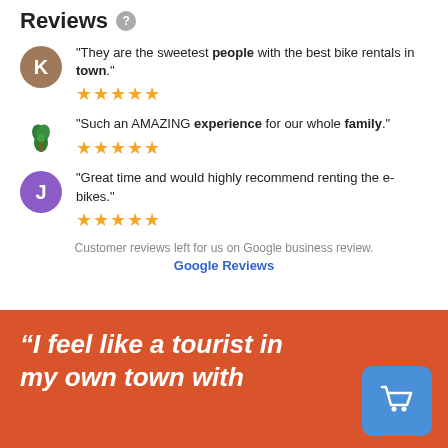Reviews
"They are the sweetest people with the best bike rentals in town." ★★★★★
"Such an AMAZING experience for our whole family." ★★★★★
"Great time and would highly recommend renting the e-bikes." ★★★★★
Customer reviews left for us on Google business review.
Google Reviews
“I feel like a tourist in my own town with